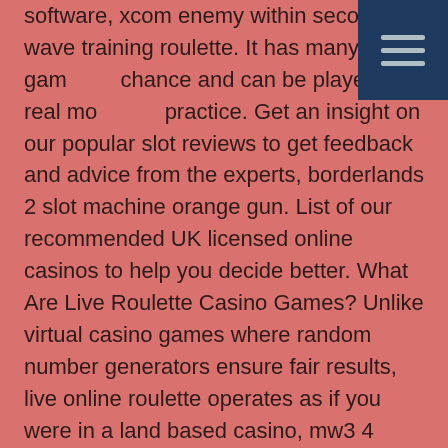software, xcom enemy within second wave training roulette. It has many other games of chance and can be played for real money or practice. Get an insight on our popular slot reviews to get feedback and advice from the experts, borderlands 2 slot machine orange gun. List of our recommended UK licensed online casinos to help you decide better. What Are Live Roulette Casino Games? Unlike virtual casino games where random number generators ensure fair results, live online roulette operates as if you were in a land based casino, mw3 4 slots under rank. Win Up to 35x When You Play European Roulette, casino insider exposes 5 winning secrets. Many online casinos, including Miami Club Casino, give players a choice of American or European Roulette. For instance, when a player deposits $20 as first deposit, there are a $20 bonus funds, and a $500 opening deposit also gets $500 bonus